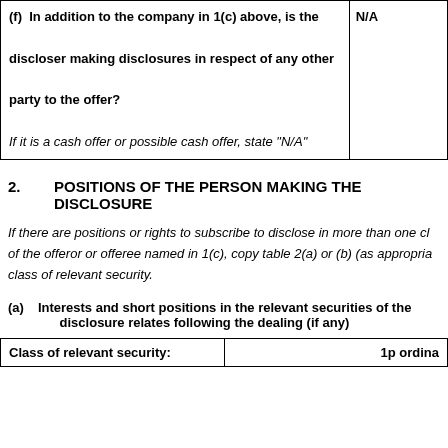| Question | Answer |
| --- | --- |
| (f) In addition to the company in 1(c) above, is the discloser making disclosures in respect of any other party to the offer?
If it is a cash offer or possible cash offer, state "N/A" | N/A |
2. POSITIONS OF THE PERSON MAKING THE DISCLOSURE
If there are positions or rights to subscribe to disclose in more than one class of the offeror or offeree named in 1(c), copy table 2(a) or (b) (as appropriate) for each class of relevant security.
(a) Interests and short positions in the relevant securities of the disclosure relates following the dealing (if any)
| Class of relevant security: | 1p ordina |
| --- | --- |